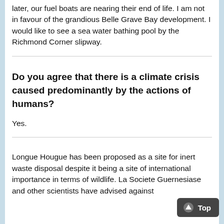later, our fuel boats are nearing their end of life. I am not in favour of the grandious Belle Grave Bay development. I would like to see a sea water bathing pool by the Richmond Corner slipway.
Do you agree that there is a climate crisis caused predominantly by the actions of humans?
Yes.
Longue Hougue has been proposed as a site for inert waste disposal despite it being a site of international importance in terms of wildlife. La Societe Guernesiase and other scientists have advised against